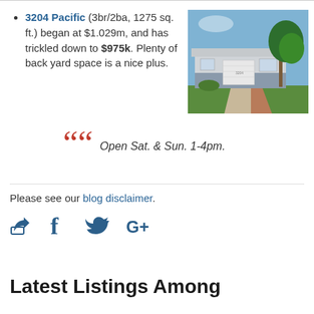3204 Pacific (3br/2ba, 1275 sq. ft.) began at $1.029m, and has trickled down to $975k. Plenty of back yard space is a nice plus.
[Figure (photo): Exterior photo of a single-story house at 3204 Pacific with white garage door, gray siding, large tree, and green lawn]
Open Sat. & Sun. 1-4pm.
Please see our blog disclaimer.
[Figure (other): Social share icons: share/export icon, Facebook f, Twitter bird, Google G+]
Latest Listings Among